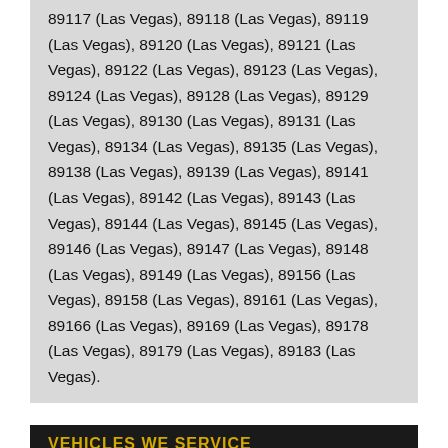89117 (Las Vegas), 89118 (Las Vegas), 89119 (Las Vegas), 89120 (Las Vegas), 89121 (Las Vegas), 89122 (Las Vegas), 89123 (Las Vegas), 89124 (Las Vegas), 89128 (Las Vegas), 89129 (Las Vegas), 89130 (Las Vegas), 89131 (Las Vegas), 89134 (Las Vegas), 89135 (Las Vegas), 89138 (Las Vegas), 89139 (Las Vegas), 89141 (Las Vegas), 89142 (Las Vegas), 89143 (Las Vegas), 89144 (Las Vegas), 89145 (Las Vegas), 89146 (Las Vegas), 89147 (Las Vegas), 89148 (Las Vegas), 89149 (Las Vegas), 89156 (Las Vegas), 89158 (Las Vegas), 89161 (Las Vegas), 89166 (Las Vegas), 89169 (Las Vegas), 89178 (Las Vegas), 89179 (Las Vegas), 89183 (Las Vegas).
VEHICLES WE SERVICE
Acura TL TLX NSX RDX MDX ILX RLX